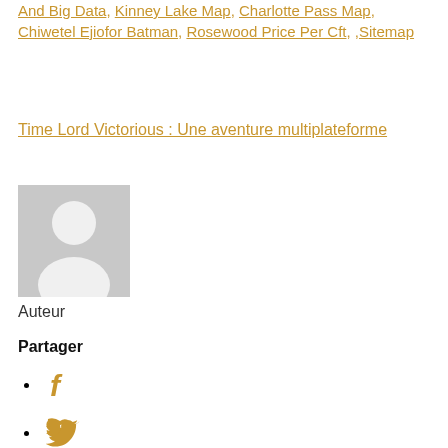And Big Data, Kinney Lake Map, Charlotte Pass Map, Chiwetel Ejiofor Batman, Rosewood Price Per Cft, ,Sitemap
Time Lord Victorious : Une aventure multiplateforme
[Figure (illustration): Grey placeholder avatar image of a person silhouette]
Auteur
Partager
Facebook icon
Twitter icon
LinkedIn icon
Google+ icon